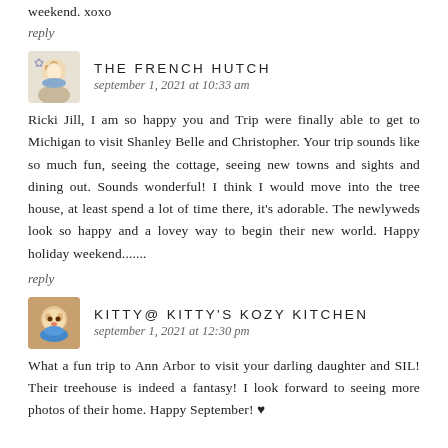weekend. xoxo
reply
THE FRENCH HUTCH
september 1, 2021 at 10:33 am
Ricki Jill, I am so happy you and Trip were finally able to get to Michigan to visit Shanley Belle and Christopher. Your trip sounds like so much fun, seeing the cottage, seeing new towns and sights and dining out. Sounds wonderful! I think I would move into the tree house, at least spend a lot of time there, it's adorable. The newlyweds look so happy and a lovey way to begin their new world. Happy holiday weekend.......
reply
KITTY@ KITTY'S KOZY KITCHEN
september 1, 2021 at 12:30 pm
What a fun trip to Ann Arbor to visit your darling daughter and SIL! Their treehouse is indeed a fantasy! I look forward to seeing more photos of their home. Happy September! ♥